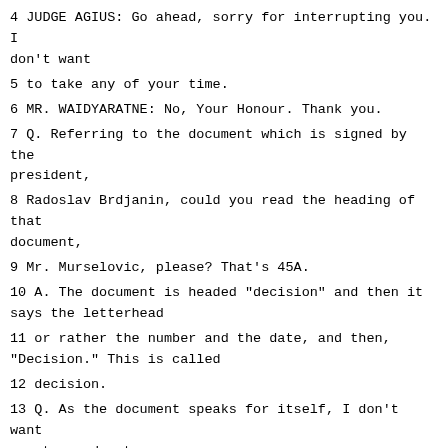4 JUDGE AGIUS: Go ahead, sorry for interrupting you. I don't want
5 to take any of your time.
6 MR. WAIDYARATNE: No, Your Honour. Thank you.
7 Q. Referring to the document which is signed by the president,
8 Radoslav Brdjanin, could you read the heading of that document,
9 Mr. Murselovic, please? That's 45A.
10 A. The document is headed "decision" and then it says the letterhead
11 or rather the number and the date, and then, "Decision." This is called
12 decision.
13 Q. As the document speaks for itself, I don't want you to read out
14 the document. How did you get this document? When did you first see this
15 document?
16 A. I got this document by acquisition of Brdjanin...